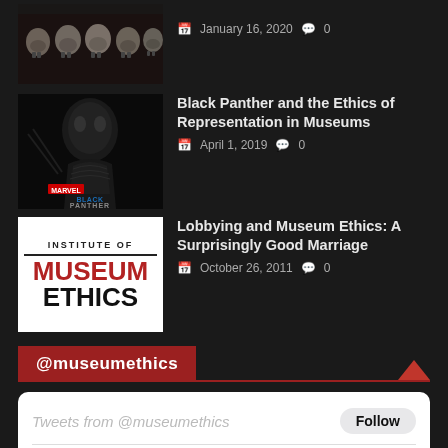[Figure (photo): Row of human skulls on dark background]
January 16, 2020  0
[Figure (photo): Black Panther movie poster]
Black Panther and the Ethics of Representation in Museums
April 1, 2019  0
[Figure (logo): Institute of Museum Ethics logo — white background, red MUSEUM text, black ETHICS text]
Lobbying and Museum Ethics: A Surprisingly Good Marriage
October 26, 2011  0
@museumethics
Tweets from @museumethics
Follow
Museum E...  @muse...  · May 21, 2020